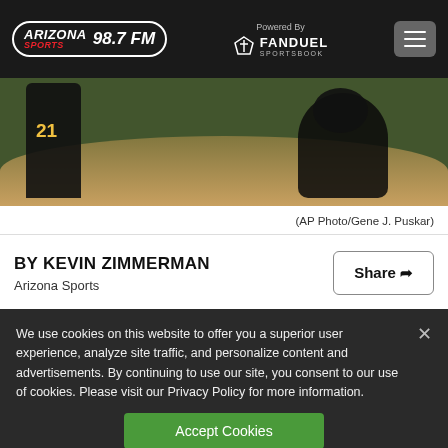Arizona Sports 98.7 FM | Powered By FanDuel Sportsbook
[Figure (photo): Baseball scene with player number 21 in black uniform and a catcher at home plate, dirt infield visible, green grass in background]
(AP Photo/Gene J. Puskar)
BY KEVIN ZIMMERMAN
Arizona Sports
We use cookies on this website to offer you a superior user experience, analyze site traffic, and personalize content and advertisements. By continuing to use our site, you consent to our use of cookies. Please visit our Privacy Policy for more information.
Accept Cookies